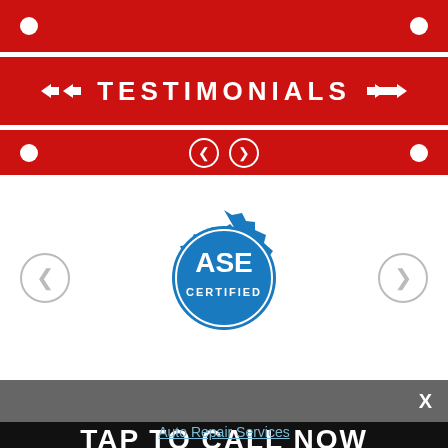[Figure (screenshot): Red banner with decorative arrows and text TESTIMONIALS, navigation circles, and screw/bolt dots at corners]
[Figure (logo): ASE Certified blue gear-shaped logo with white text ASE CERTIFIED in center]
TAP TO CALL NOW
METCO AUTO SERVICE 828-689-5571
Auto Repair Services